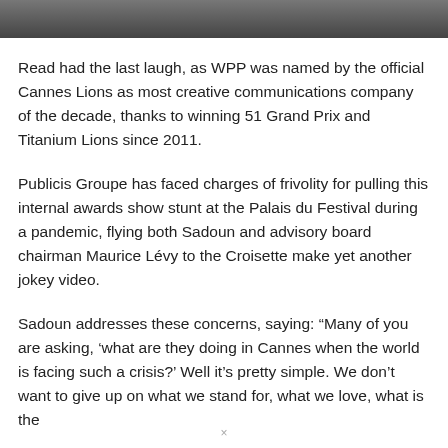[Figure (photo): Partial image at top of page, dark/grey tones, cropped.]
Read had the last laugh, as WPP was named by the official Cannes Lions as most creative communications company of the decade, thanks to winning 51 Grand Prix and Titanium Lions since 2011.
Publicis Groupe has faced charges of frivolity for pulling this internal awards show stunt at the Palais du Festival during a pandemic, flying both Sadoun and advisory board chairman Maurice Lévy to the Croisette make yet another jokey video.
Sadoun addresses these concerns, saying: “Many of you are asking, ‘what are they doing in Cannes when the world is facing such a crisis?’ Well it’s pretty simple. We don’t want to give up on what we stand for, what we love, what is the
×